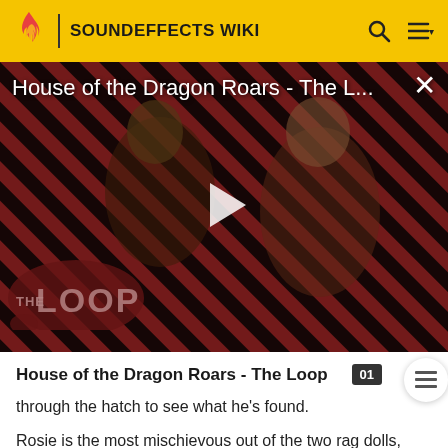SOUNDEFFECTS WIKI
[Figure (screenshot): Video thumbnail for 'House of the Dragon Roars - The L...' showing two characters from House of the Dragon TV series with a red and black diagonal stripe background and 'THE LOOP' logo overlay. A white play button triangle is centered on the image.]
House of the Dragon Roars - The Loop
through the hatch to see what he's found.
Rosie is the most mischievous out of the two rag dolls. She likes danger, and is always causing trouble for Neil...